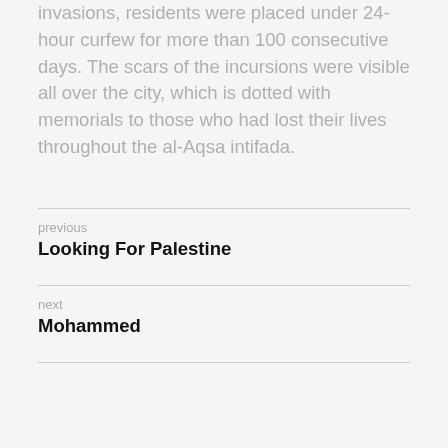invasions, residents were placed under 24-hour curfew for more than 100 consecutive days. The scars of the incursions were visible all over the city, which is dotted with memorials to those who had lost their lives throughout the al-Aqsa intifada.
previous
Looking For Palestine
next
Mohammed